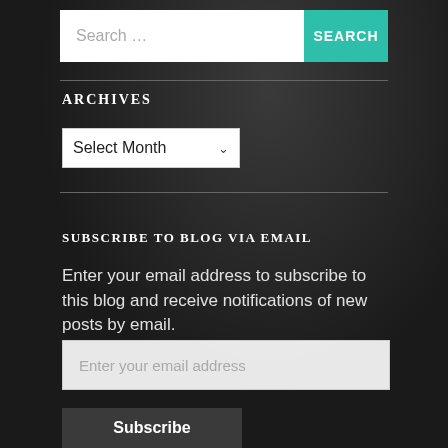Search …
SEARCH
ARCHIVES
Select Month
SUBSCRIBE TO BLOG VIA EMAIL
Enter your email address to subscribe to this blog and receive notifications of new posts by email.
Enter your email address
Subscribe